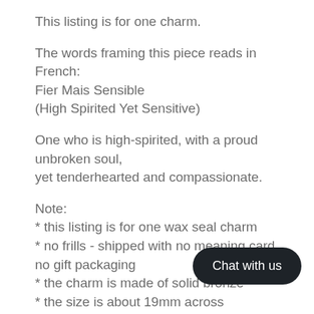This listing is for one charm.
The words framing this piece reads in French:
Fier Mais Sensible
(High Spirited Yet Sensitive)
One who is high-spirited, with a proud unbroken soul,
yet tenderhearted and compassionate.
Note:
* this listing is for one wax seal charm
* no frills - shipped with no meaning card, no gift packaging
* the charm is made of solid bronze
* the size is about 19mm across
The antique wax seal used in creating this charm